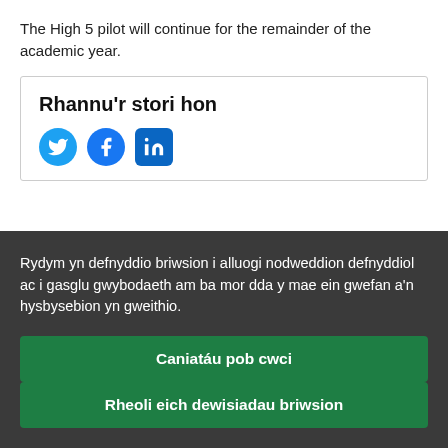The High 5 pilot will continue for the remainder of the academic year.
Rhannu’r stori hon
[Figure (illustration): Social media share icons: Twitter (blue circle), Facebook (blue circle), LinkedIn (blue rounded square)]
Rydym yn defnyddio briwsion i alluogi nodweddion defnyddiol ac i gasglu gwybodaeth am ba mor dda y mae ein gwefan a’n hysbysebion yn gweithio.
Caniatáu pob cwci
Rheoli eich dewisiadau briwsion